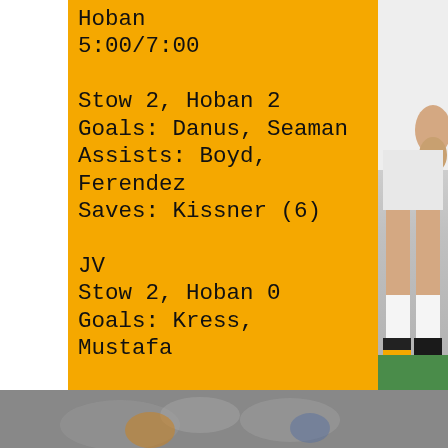Hoban
5:00/7:00

Stow 2, Hoban 2
Goals: Danus, Seaman
Assists: Boyd, Ferendez
Saves: Kissner (6)

JV
Stow 2, Hoban 0
Goals: Kress, Mustafa
[Figure (photo): Soccer player in white uniform, legs visible from waist down, wearing cleats. Right side of image. Bottom strip shows blurred players on field.]